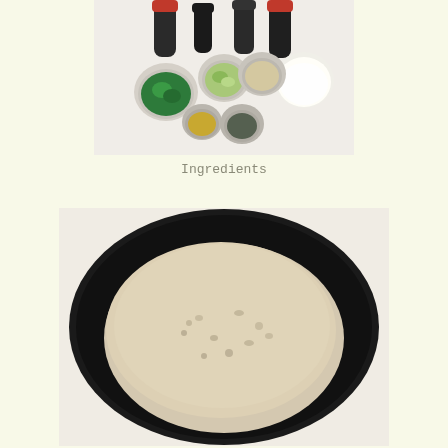[Figure (photo): Top-down view of cooking ingredients in small bowls: fresh herbs (parsley/scallions), chopped green onion, sesame seeds, white powder/cream, yellow spice, black pepper, and various sauce bottles with dark and red caps on a white surface.]
Ingredients
[Figure (photo): A black round pan/wok viewed from above containing a large mound of light-colored grain (quinoa or sesame seeds) covering most of the pan surface.]